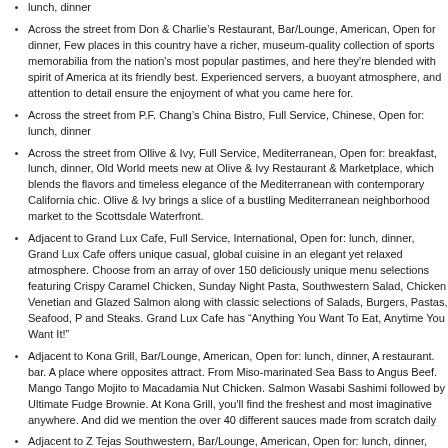lunch, dinner
Across the street from Don & Charlie’s Restaurant, Bar/Lounge, American, Open for dinner, Few places in this country have a richer, museum-quality collection of sports memorabilia from the nation's most popular pastimes, and here they're blended with spirit of America at its friendly best. Experienced servers, a buoyant atmosphere, and attention to detail ensure the enjoyment of what you came here for.
Across the street from P.F. Chang’s China Bistro, Full Service, Chinese, Open for: lunch, dinner
Across the street from Ollive & Ivy, Full Service, Mediterranean, Open for: breakfast, lunch, dinner, Old World meets new at Olive & Ivy Restaurant & Marketplace, which blends the flavors and timeless elegance of the Mediterranean with contemporary California chic. Olive & Ivy brings a slice of a bustling Mediterranean neighborhood market to the Scottsdale Waterfront.
Adjacent to Grand Lux Cafe, Full Service, International, Open for: lunch, dinner, Grand Lux Cafe offers unique casual, global cuisine in an elegant yet relaxed atmosphere. Choose from an array of over 150 deliciously unique menu selections featuring Crispy Caramel Chicken, Sunday Night Pasta, Southwestern Salad, Chicken Venetian and Glazed Salmon along with classic selections of Salads, Burgers, Pastas, Seafood, P and Steaks. Grand Lux Cafe has "Anything You Want To Eat, Anytime You Want It!"
Adjacent to Kona Grill, Bar/Lounge, American, Open for: lunch, dinner, A restaurant. bar. A place where opposites attract. From Miso-marinated Sea Bass to Angus Beef. Mango Tango Mojito to Macadamia Nut Chicken. Salmon Wasabi Sashimi followed by Ultimate Fudge Brownie. At Kona Grill, you'll find the freshest and most imaginative anywhere. And did we mention the over 40 different sauces made from scratch daily
Adjacent to Z Tejas Southwestern, Bar/Lounge, American, Open for: lunch, dinner, Surrounded by resorts and upscale shops, Z'Tejas is the perfect complement to a day golfing or shopping. Just as the food unites diverse flavors, the restaurant brings native woods together with Texas limestone.
Across the street from Bravo Bistro, Bar/Lounge, Italian, Open for: lunch, dinner, A unique style of Mediterranean dining in an intimate setting. Fresh fish…never frozen, flown in daily, prime meats, locally grown organic produce. Homemade pasta and dessert, with a full bar and incredible wine selection.
Across the street from Pink Taco, Bar/Lounge, Mexican, Open for: lunch, dinner,